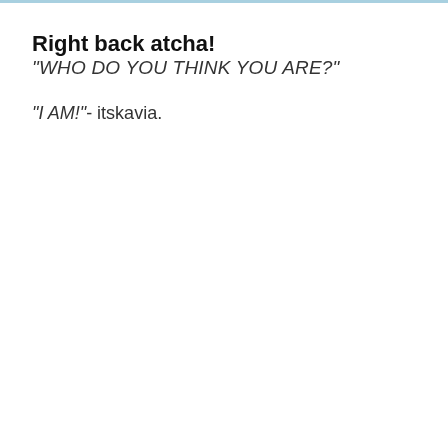Right back atcha!
"WHO DO YOU THINK YOU ARE?"
"I AM!"- itskavia.